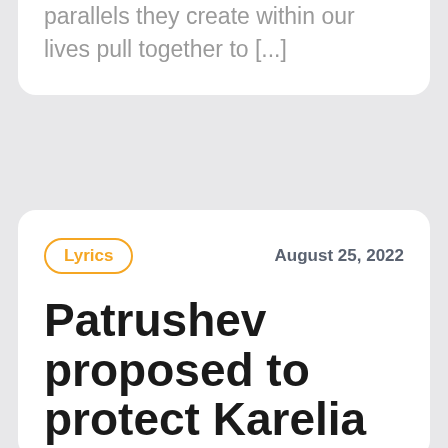parallels they create within our lives pull together to [...]
Lyrics
August 25, 2022
Patrushev proposed to protect Karelia from outside